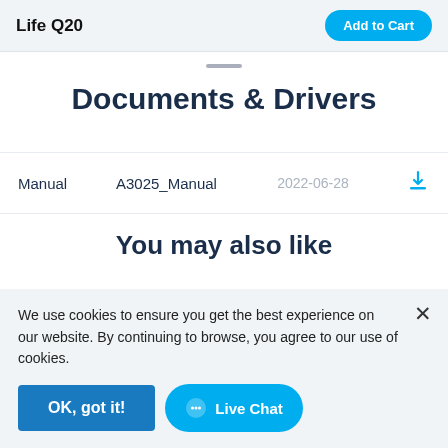Life Q20
Documents & Drivers
| Type | Name | Date | Action |
| --- | --- | --- | --- |
| Manual | A3025_Manual | 2022-06-28 | Download |
You may also like
We use cookies to ensure you get the best experience on our website. By continuing to browse, you agree to our use of cookies.